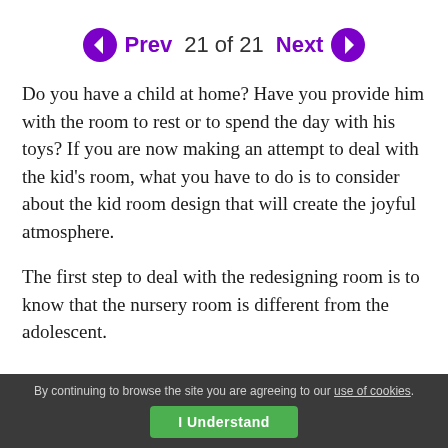[Figure (other): Navigation bar with Prev arrow button, '21 of 21' text, and Next arrow button in purple]
Do you have a child at home? Have you provide him with the room to rest or to spend the day with his toys? If you are now making an attempt to deal with the kid's room, what you have to do is to consider about the kid room design that will create the joyful atmosphere.
The first step to deal with the redesigning room is to know that the nursery room is different from the adolescent.
By continuing to browse the site you are agreeing to our use of cookies. I Understand